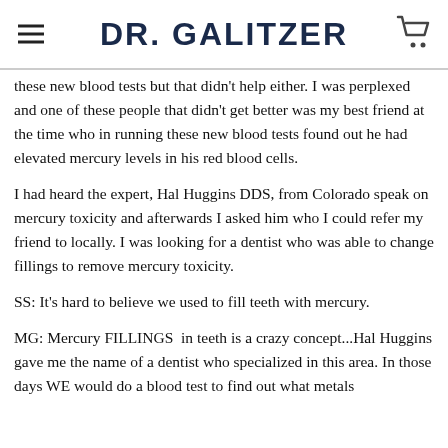DR. GALITZER
these new blood tests but that didn't help either. I was perplexed and one of these people that didn't get better was my best friend at the time who in running these new blood tests found out he had elevated mercury levels in his red blood cells.
I had heard the expert, Hal Huggins DDS, from Colorado speak on mercury toxicity and afterwards I asked him who I could refer my friend to locally. I was looking for a dentist who was able to change fillings to remove mercury toxicity.
SS: It's hard to believe we used to fill teeth with mercury.
MG: Mercury FILLINGS  in teeth is a crazy concept...Hal Huggins gave me the name of a dentist who specialized in this area. In those days WE would do a blood test to find out what metals